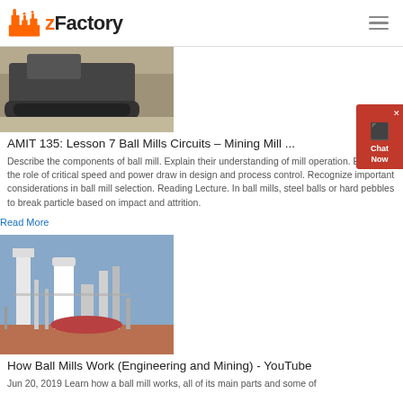zFactory
[Figure (photo): A large industrial crawler/tracked machine on a dirt ground]
AMIT 135: Lesson 7 Ball Mills Circuits – Mining Mill ...
Describe the components of ball mill. Explain their understanding of mill operation. Explain the role of critical speed and power draw in design and process control. Recognize important considerations in ball mill selection. Reading Lecture. In ball mills, steel balls or hard pebbles to break particle based on impact and attrition.
Read More
[Figure (photo): Industrial cement plant or chemical plant with tall towers and structures against a blue sky]
How Ball Mills Work (Engineering and Mining) - YouTube
Jun 20, 2019 Learn how a ball mill works, all of its main parts and some of